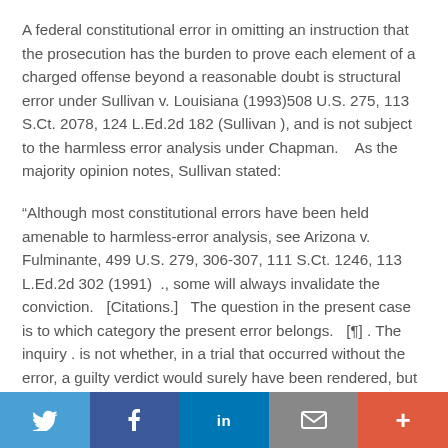A federal constitutional error in omitting an instruction that the prosecution has the burden to prove each element of a charged offense beyond a reasonable doubt is structural error under Sullivan v. Louisiana (1993)508 U.S. 275, 113 S.Ct. 2078, 124 L.Ed.2d 182 (Sullivan ), and is not subject to the harmless error analysis under Chapman.    As the majority opinion notes, Sullivan stated:
“Although most constitutional errors have been held amenable to harmless-error analysis, see Arizona v. Fulminante, 499 U.S. 279, 306-307, 111 S.Ct. 1246, 113 L.Ed.2d 302 (1991)  ., some will always invalidate the conviction.   [Citations.]   The question in the present case is to which category the present error belongs.   [¶] . The inquiry . is not whether, in a trial that occurred without the error, a guilty verdict would surely have been rendered, but whether the guilty verdict actually rendered in this trial was surely
Twitter | Facebook | LinkedIn | Email | More